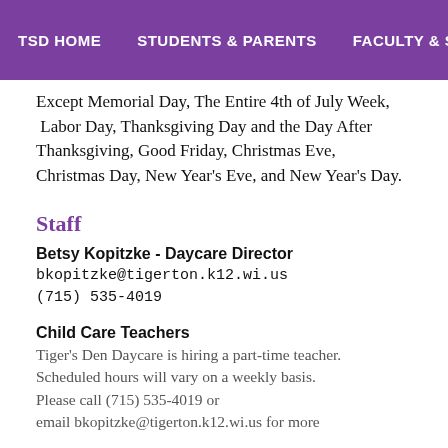TSD HOME   STUDENTS & PARENTS   FACULTY & ST
Except Memorial Day, The Entire 4th of July Week, Labor Day, Thanksgiving Day and the Day After Thanksgiving, Good Friday, Christmas Eve, Christmas Day, New Year's Eve, and New Year's Day.
Staff
Betsy Kopitzke - Daycare Director
bkopitzke@tigerton.k12.wi.us
(715) 535-4019
Child Care Teachers
Tiger's Den Daycare is hiring a part-time teacher. Scheduled hours will vary on a weekly basis. Please call (715) 535-4019 or email bkopitzke@tigerton.k12.wi.us for more